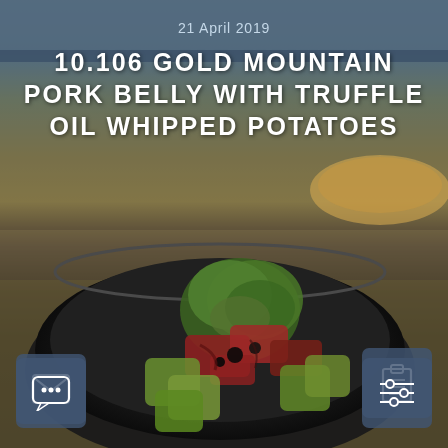21 April 2019
10.106 GOLD MOUNTAIN PORK BELLY WITH TRUFFLE OIL WHIPPED POTATOES
[Figure (photo): A dark ceramic bowl containing pork belly pieces with avocado chunks, garnished with fresh herbs/parsley, on a restaurant table setting. Background shows another dish out of focus.]
[Figure (infographic): Four UI icon buttons overlaid on the photo: email/envelope icon (top left), clipboard/document icon (top right), sliders/settings icon (bottom right), speech bubble/chat icon (bottom left)]